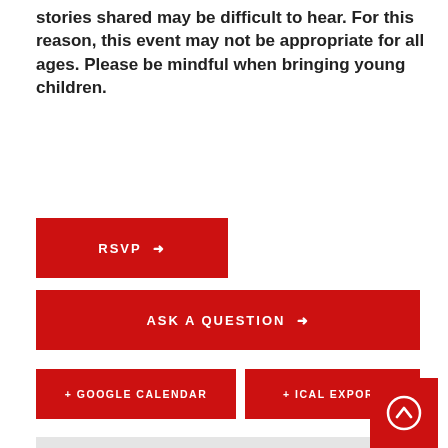stories shared may be difficult to hear. For this reason, this event may not be appropriate for all ages. Please be mindful when bringing young children.
RSVP →
ASK A QUESTION →
+ GOOGLE CALENDAR
+ ICAL EXPORT
Details
Date:
June 26, 2019
Time:
6:30 pm - 8:30 pm
Event Category:
Burn Survivor Events